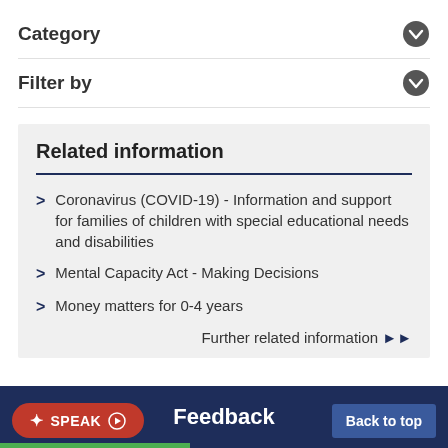Category
Filter by
Related information
Coronavirus (COVID-19) - Information and support for families of children with special educational needs and disabilities
Mental Capacity Act - Making Decisions
Money matters for 0-4 years
Further related information ▶▶
SPEAK | Feedback | Back to top